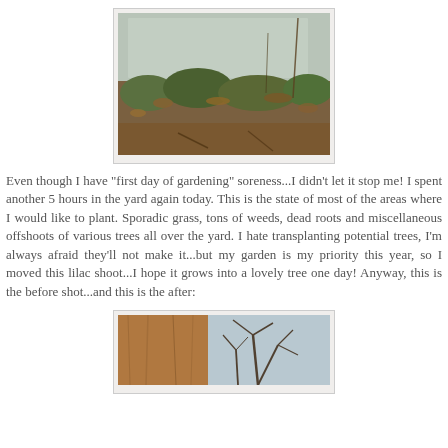[Figure (photo): A before photo showing a garden bed along a wall with sporadic grass, dead leaves, weeds, and bare soil.]
Even though I have "first day of gardening" soreness...I didn't let it stop me! I spent another 5 hours in the yard again today. This is the state of most of the areas where I would like to plant. Sporadic grass, tons of weeds, dead roots and miscellaneous offshoots of various trees all over the yard. I hate transplanting potential trees, I'm always afraid they'll not make it...but my garden is my priority this year, so I moved this lilac shoot...I hope it grows into a lovely tree one day! Anyway, this is the before shot...and this is the after:
[Figure (photo): An after photo showing the cleaned garden bed with a wooden fence or post visible and bare tree branches.]